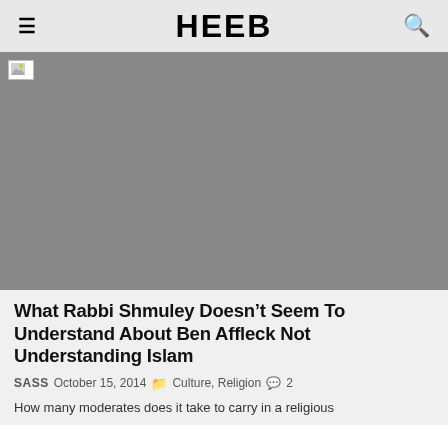Heeb
[Figure (photo): Large gray placeholder image (failed to load) spanning the full width of the page]
What Rabbi Shmuley Doesn’t Seem To Understand About Ben Affleck Not Understanding Islam
SASS  October 15, 2014  Culture, Religion  2
How many moderates does it take to carry in a religious...